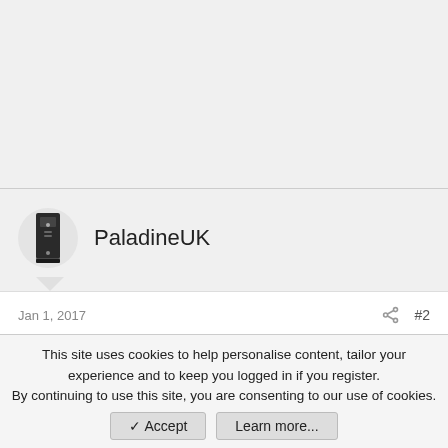PaladineUK
Jan 1, 2017  #2
Drazzilder said:
I have recently put in a 390x into my mackintosh but I seem to be having some issues with the card.
This site uses cookies to help personalise content, tailor your experience and to keep you logged in if you register. By continuing to use this site, you are consenting to our use of cookies.
Accept
Learn more...